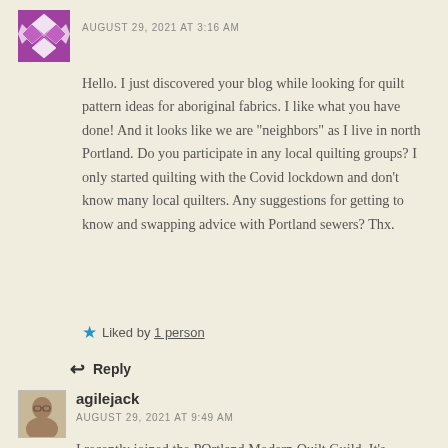[Figure (illustration): Purple and white quilt pattern avatar icon in a square]
AUGUST 29, 2021 AT 3:16 AM
Hello. I just discovered your blog while looking for quilt pattern ideas for aboriginal fabrics. I like what you have done! And it looks like we are "neighbors" as I live in north Portland. Do you participate in any local quilting groups? I only started quilting with the Covid lockdown and don't know many local quilters. Any suggestions for getting to know and swapping advice with Portland sewers? Thx.
★ Liked by 1 person
↩ Reply
[Figure (photo): Small portrait photo of a person with glasses, used as avatar for agilejack]
agilejack
AUGUST 29, 2021 AT 9:49 AM
I recently joined the POrtland Modern Quilt Guild. It's